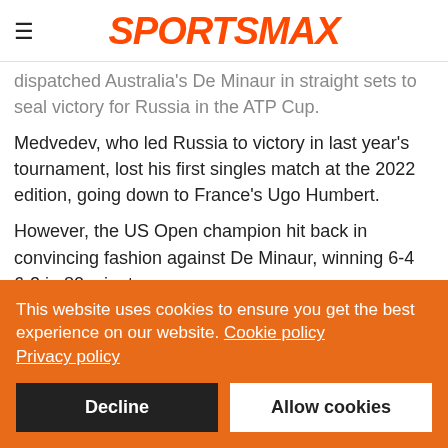SPORTSMAX
dispatched Australia's De Minaur in straight sets to seal victory for Russia in the ATP Cup.
Medvedev, who led Russia to victory in last year's tournament, lost his first singles match at the 2022 edition, going down to France's Ugo Humbert.
However, the US Open champion hit back in convincing fashion against De Minaur, winning 6-4 6-2 in 80 minutes.
Medvedev's win took Russia into an unassailable 2-0 lead prior
This website uses cookies to ensure you get the best experience on our website. Cookie policy
Privacy policy
Decline
Allow cookies